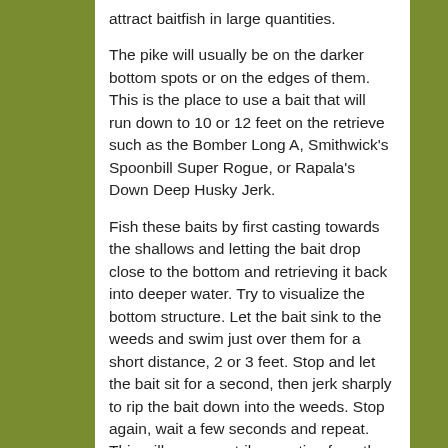attract baitfish in large quantities.
The pike will usually be on the darker bottom spots or on the edges of them. This is the place to use a bait that will run down to 10 or 12 feet on the retrieve such as the Bomber Long A, Smithwick's Spoonbill Super Rogue, or Rapala's Down Deep Husky Jerk.
Fish these baits by first casting towards the shallows and letting the bait drop close to the bottom and retrieving it back into deeper water. Try to visualize the bottom structure. Let the bait sink to the weeds and swim just over them for a short distance, 2 or 3 feet. Stop and let the bait sit for a second, then jerk sharply to rip the bait down into the weeds. Stop again, wait a few seconds and repeat. This will cause a strike reaction from the pike, as the bait will appear as though it is wounded and trying to evade the pike. If you find that the pike are following your baits without actually hitting them try letting the bait fall